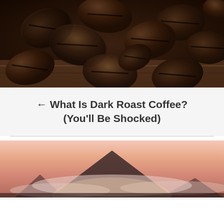[Figure (photo): Close-up photograph of dark roasted coffee beans piled on a wooden surface, showing their dark brown to near-black color and glossy oily texture]
← What Is Dark Roast Coffee? (You'll Be Shocked)
[Figure (photo): Scenic photograph of a mountain silhouette at sunset or sunrise, with a warm pink and orange sky and misty clouds around the mountain peak]